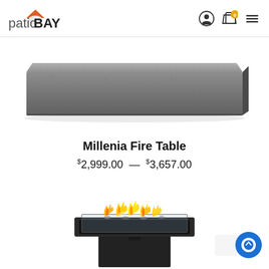patioBay
[Figure (photo): A rectangular concrete/stone fire table top in dark grey color, viewed from an angle showing the textured surface]
Millenia Fire Table
$2,999.00 – $3,657.00
[Figure (photo): A rectangular black metal fire table with open flames visible in the glass-enclosed fire pit area, viewed from a slight angle]